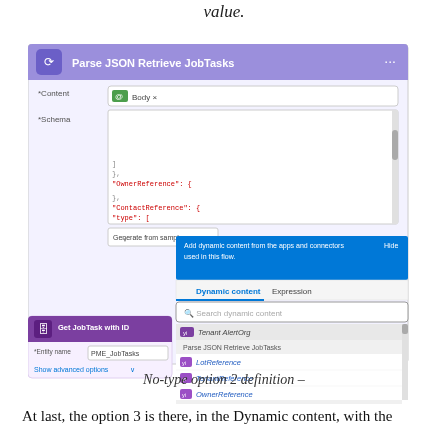value.
[Figure (screenshot): Screenshot of Microsoft Power Automate flow showing a 'Parse JSON Retrieve JobTasks' step with *Content field set to 'Body', *Schema field showing JSON with OwnerReference, ContactReference, type fields. A blue popup shows 'Add dynamic content from the apps and connectors used in this flow.' with a Hide button. Below is a Dynamic content / Expression tab panel with a search box reading 'Search dynamic content'. Listed items include 'Tenant AlertOrg', section header 'Parse JSON Retrieve JobTasks', then items: LotReference, TenantReference, OwnerReference, and section 'Get PropertyMe API Subscriptions'. Below the popup is a 'Get JobTask with ID' step showing *Entity name: PME_JobTasks and a 'Show advanced options' link.]
No-type option 2 definition –
At last, the option 3 is there, in the Dynamic content, with the